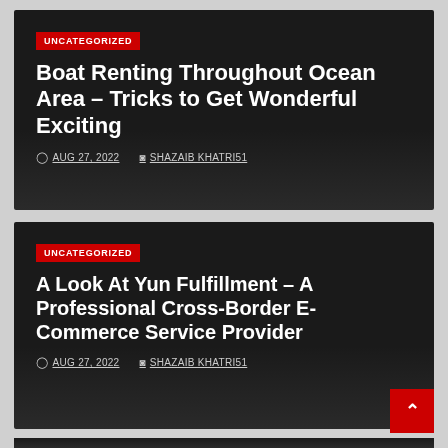[Figure (screenshot): Dark blog post card with red UNCATEGORIZED badge, title 'Boat Renting Throughout Ocean Area – Tricks to Get Wonderful Exciting', date AUG 27, 2022, author SHAZAIB KHATRI51]
[Figure (screenshot): Dark blog post card with red UNCATEGORIZED badge, title 'A Look At Yun Fulfillment – A Professional Cross-Border E-Commerce Service Provider', date AUG 27, 2022, author SHAZAIB KHATRI51]